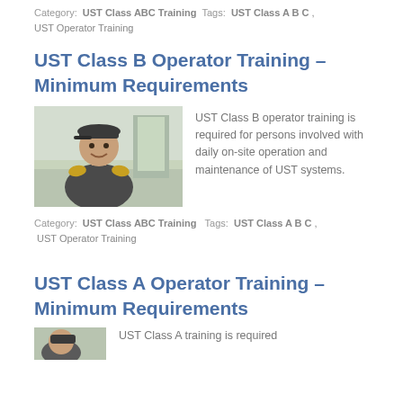Category: UST Class ABC Training  Tags: UST Class A B C , UST Operator Training
UST Class B Operator Training – Minimum Requirements
[Figure (photo): Photo of a male worker in a dark uniform with yellow shoulder patches, wearing a cap, smiling outdoors near a building.]
UST Class B operator training is required for persons involved with daily on-site operation and maintenance of UST systems.
Category: UST Class ABC Training  Tags: UST Class A B C , UST Operator Training
UST Class A Operator Training – Minimum Requirements
UST Class A training is required